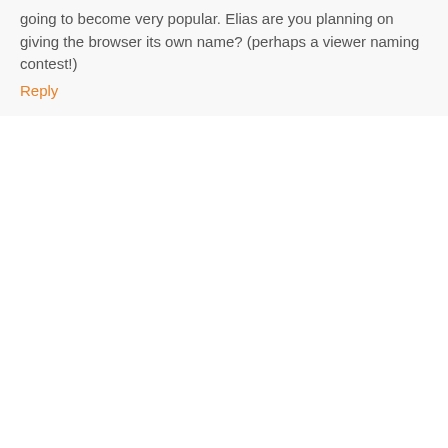going to become very popular. Elias are you planning on giving the browser its own name? (perhaps a viewer naming contest!)
Reply